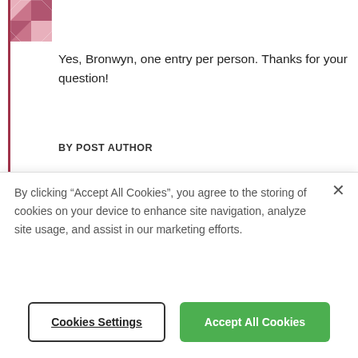[Figure (illustration): Avatar image with pink/mauve quilt pattern design, top-left corner cut off]
Yes, Bronwyn, one entry per person. Thanks for your question!
BY POST AUTHOR
[Figure (illustration): Avatar image with dark blue quilt/geometric diamond pattern]
KIM
March 29, 2018 at 7:14 pm
By clicking “Accept All Cookies”, you agree to the storing of cookies on your device to enhance site navigation, analyze site usage, and assist in our marketing efforts.
Cookies Settings
Accept All Cookies